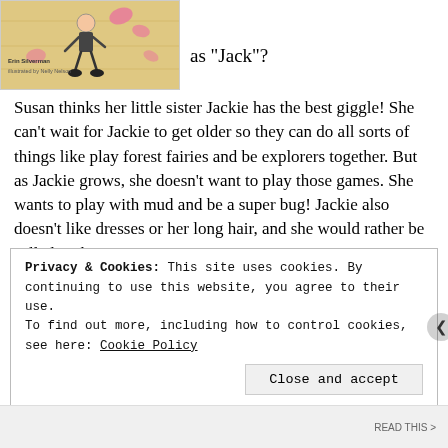[Figure (illustration): Book cover illustration showing a child figure with pink flower/kiss graphics on a wooden background, with author and illustrator names in small text]
as “Jack”?
Susan thinks her little sister Jackie has the best giggle! She can’t wait for Jackie to get older so they can do all sorts of things like play forest fairies and be explorers together. But as Jackie grows, she doesn’t want to play those games. She wants to play with mud and be a super bug! Jackie also doesn’t like dresses or her long hair, and she would rather be called Jack.
Readers will love this sweet story about change and acceptance.
Privacy & Cookies: This site uses cookies. By continuing to use this website, you agree to their use.
To find out more, including how to control cookies, see here: Cookie Policy
Close and accept